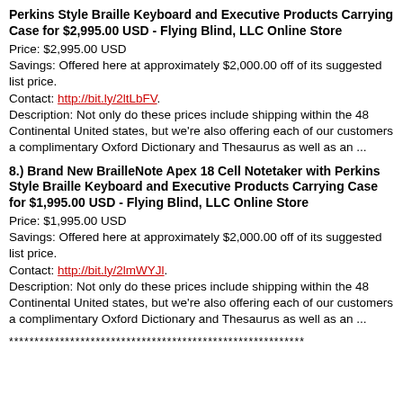Perkins Style Braille Keyboard and Executive Products Carrying Case for $2,995.00 USD - Flying Blind, LLC Online Store
Price: $2,995.00 USD
Savings: Offered here at approximately $2,000.00 off of its suggested list price.
Contact: http://bit.ly/2ltLbFV.
Description: Not only do these prices include shipping within the 48 Continental United states, but we're also offering each of our customers a complimentary Oxford Dictionary and Thesaurus as well as an ...
8.) Brand New BrailleNote Apex 18 Cell Notetaker with Perkins Style Braille Keyboard and Executive Products Carrying Case for $1,995.00 USD - Flying Blind, LLC Online Store
Price: $1,995.00 USD
Savings: Offered here at approximately $2,000.00 off of its suggested list price.
Contact: http://bit.ly/2lmWYJl.
Description: Not only do these prices include shipping within the 48 Continental United states, but we're also offering each of our customers a complimentary Oxford Dictionary and Thesaurus as well as an ...
**********************************************************